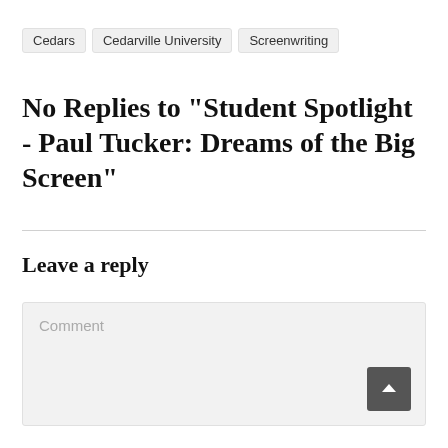Cedars
Cedarville University
Screenwriting
No Replies to "Student Spotlight - Paul Tucker: Dreams of the Big Screen"
Leave a reply
Comment